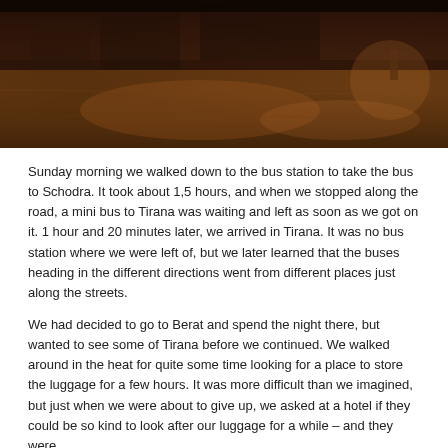[Figure (photo): Night street scene photograph with dark orange/brown tones, appears to be an outdoor area at night with ambient lighting on pavement]
Sunday morning we walked down to the bus station to take the bus to Schodra. It took about 1,5 hours, and when we stopped along the road, a mini bus to Tirana was waiting and left as soon as we got on it. 1 hour and 20 minutes later, we arrived in Tirana. It was no bus station where we were left of, but we later learned that the buses heading in the different directions went from different places just along the streets.
We had decided to go to Berat and spend the night there, but wanted to see some of Tirana before we continued. We walked around in the heat for quite some time looking for a place to store the luggage for a few hours. It was more difficult than we imagined, but just when we were about to give up, we asked at a hotel if they could be so kind to look after our luggage for a while – and they were.
As we had not eaten yet, we first looked for a place for lunch. We sat down in the shadow by the Opera, but found out that they did not serve food. Either way, we needed the rest and something to drink, so we stayed there for a while. We asked the cute girl that sold ice cream if she had any recommendations where we could eat lunch. She was very helpful and pointed out a small square behind the big casino that had